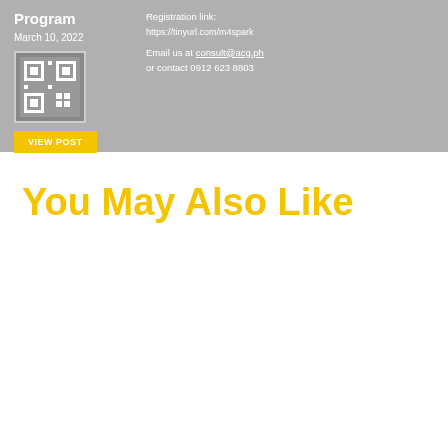[Figure (screenshot): Card section with gray background showing program title, QR code, date, registration link, email, contact info, and VIEW POST button]
You May Also Like